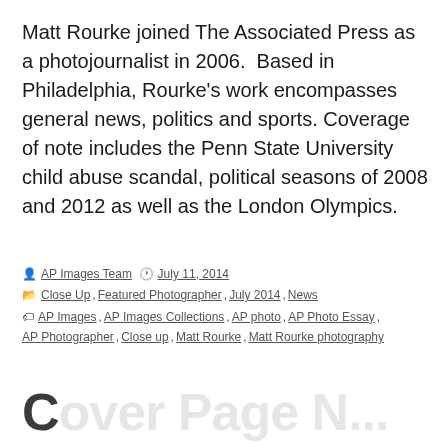Matt Rourke joined The Associated Press as a photojournalist in 2006.  Based in Philadelphia, Rourke's work encompasses general news, politics and sports. Coverage of note includes the Penn State University child abuse scandal, political seasons of 2008 and 2012 as well as the London Olympics.
By AP Images Team  July 11, 2014  Categories: Close Up, Featured Photographer, July 2014, News  Tags: AP Images, AP Images Collections, AP photo, AP Photo Essay, AP Photographer, Close up, Matt Rourke, Matt Rourke photography